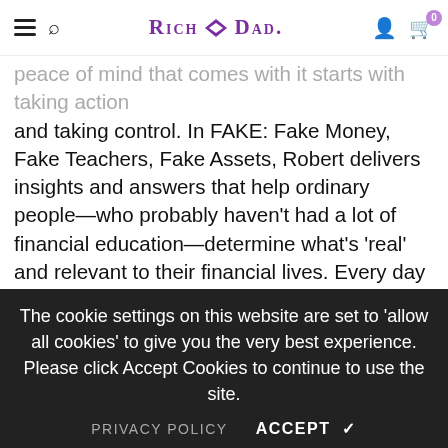Rich Dad [logo] — navigation bar with hamburger menu, search, user icon, cart (0)
peace of mind that comes with it starts with taking action and taking control. In FAKE: Fake Money, Fake Teachers, Fake Assets, Robert delivers insights and answers that help ordinary people—who probably haven't had a lot of financial education—determine what's 'real' and relevant to their financial lives. Every day we are bombarded with news reports and information and opinions… How do we decipher fact from fiction? How do we differentiate between truth and lies? And determine what's real… from what isn't? Kiyosaki believes that it starts with education, financial education
The cookie settings on this website are set to 'allow all cookies' to give you the very best experience. Please click Accept Cookies to continue to use the site.
PRIVACY POLICY   ACCEPT ✔